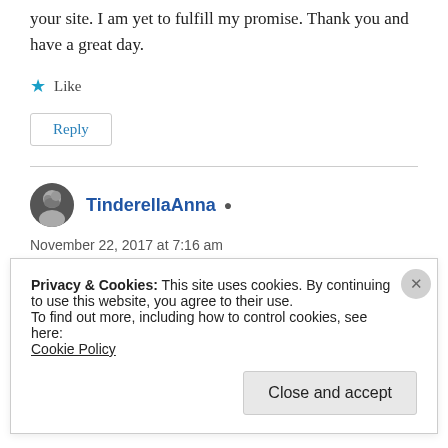your site. I am yet to fulfill my promise. Thank you and have a great day.
★ Like
Reply
TinderellaAnna
November 22, 2017 at 7:16 am
Privacy & Cookies: This site uses cookies. By continuing to use this website, you agree to their use.
To find out more, including how to control cookies, see here: Cookie Policy
Close and accept